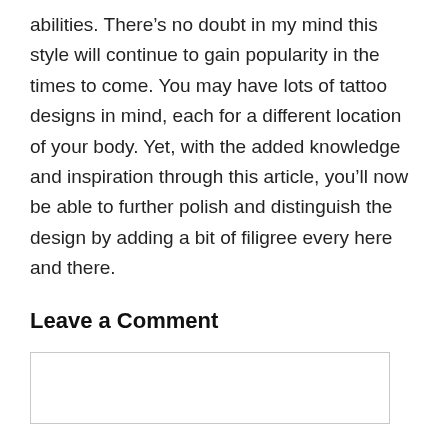abilities. There's no doubt in my mind this style will continue to gain popularity in the times to come. You may have lots of tattoo designs in mind, each for a different location of your body. Yet, with the added knowledge and inspiration through this article, you'll now be able to further polish and distinguish the design by adding a bit of filigree every here and there.
Leave a Comment